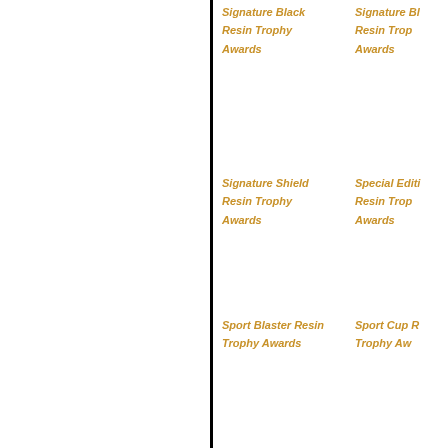Signature Black Resin Trophy Awards
Signature Black Resin Trophy Awards
Signature Shield Resin Trophy Awards
Special Edition Resin Trophy Awards
Sport Blaster Resin Trophy Awards
Sport Cup Resin Trophy Awards